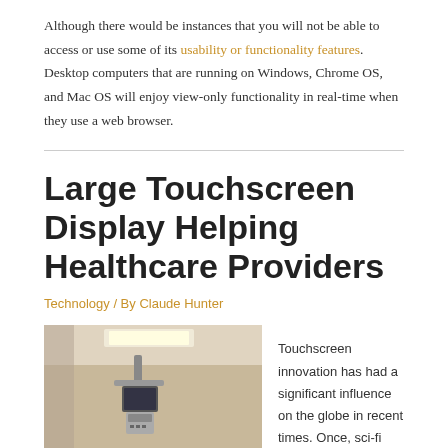Although there would be instances that you will not be able to access or use some of its usability or functionality features. Desktop computers that are running on Windows, Chrome OS, and Mac OS will enjoy view-only functionality in real-time when they use a web browser.
Large Touchscreen Display Helping Healthcare Providers
Technology / By Claude Hunter
[Figure (photo): Interior of a hospital or medical room with ceiling-mounted equipment and a computer monitor on a medical arm/stand, warm beige tones.]
Touchscreen innovation has had a significant influence on the globe in recent times. Once, sci-fi stuff is established as a vital part of contemporary life. And also, one part that